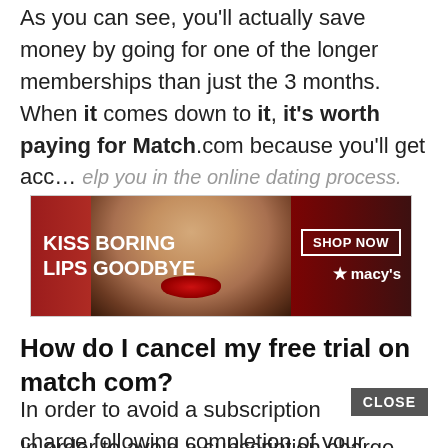As you can see, you'll actually save money by going for one of the longer memberships than just the 3 months. When it comes down to it, it's worth paying for Match.com because you'll get acc... you in the online dating process.
[Figure (other): Macy's advertisement banner showing a woman's face with red lips, text 'KISS BORING LIPS GOODBYE', 'SHOP NOW' button, and Macy's star logo]
How do I cancel my free trial on match com?
In order to avoid a subscription charge following completion of your Trial Subscription, you must cancel your Trial Subscription prior to its conclusion (that is, before the end of the trial period) by logging into www.match.com selecting Account Settings, clicking on "Change/Cancel Membership" and following the